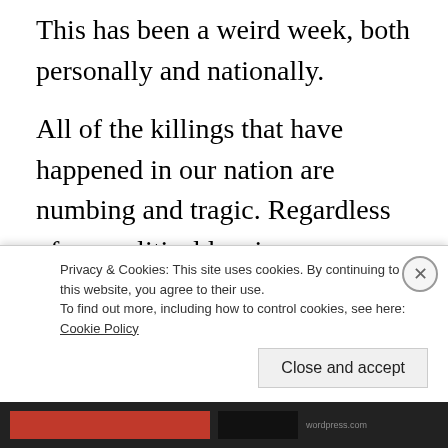This has been a weird week, both personally and nationally.
All of the killings that have happened in our nation are numbing and tragic. Regardless of my political leanings, or thoughts on the 2nd Amendment or attitudes on activism; American families are in mourning and in need of my prayers. This is part of how I love my neighbors (Matthew 22:37-40). Our nation is in need of my prayers. God help us!
Privacy & Cookies: This site uses cookies. By continuing to use this website, you agree to their use.
To find out more, including how to control cookies, see here: Cookie Policy